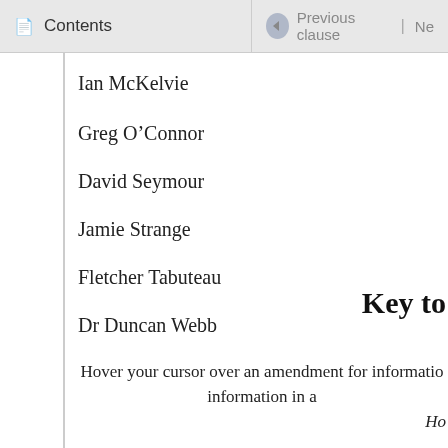Contents | Previous clause | Ne
Ian McKelvie
Greg O’Connor
David Seymour
Jamie Strange
Fletcher Tabuteau
Dr Duncan Webb
Key to
Hover your cursor over an amendment for informatio information in a
Ho